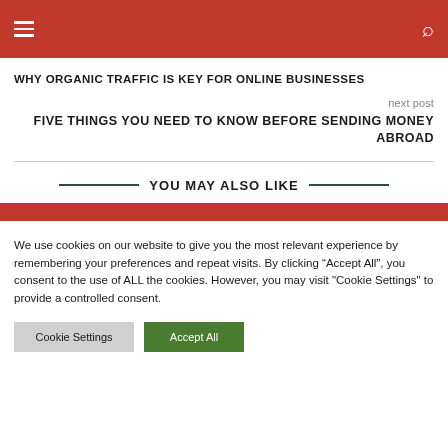WHY ORGANIC TRAFFIC IS KEY FOR ONLINE BUSINESSES
FIVE THINGS YOU NEED TO KNOW BEFORE SENDING MONEY ABROAD
YOU MAY ALSO LIKE
We use cookies on our website to give you the most relevant experience by remembering your preferences and repeat visits. By clicking “Accept All”, you consent to the use of ALL the cookies. However, you may visit "Cookie Settings" to provide a controlled consent.